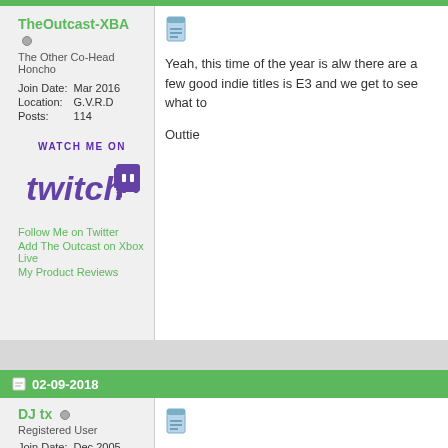TheOutcast-XBA
The Other Co-Head Honcho
Join Date: Mar 2016
Location: G.V.R.D
Posts: 114
[Figure (logo): WATCH ME ON Twitch logo with Twitch glitch icon in purple]
Follow Me on Twitter
Add The Outcast on Xbox Live
My Product Reviews
[Figure (other): Post/document icon in blue]
Yeah, this time of the year is alw there are a few good indie titles is E3 and we get to see what to
Outtie
02-09-2018
DJ tx
Registered User
Join Date: Dec 2005
Location: Houston, TX
Posts: 91
[Figure (other): Post/document icon in blue]
Just checking in on this topic as am feeling this way as well. I lo (which I don't own) and seems l friend of mine (different city) jus Horizon Zero Dawn and Shadow